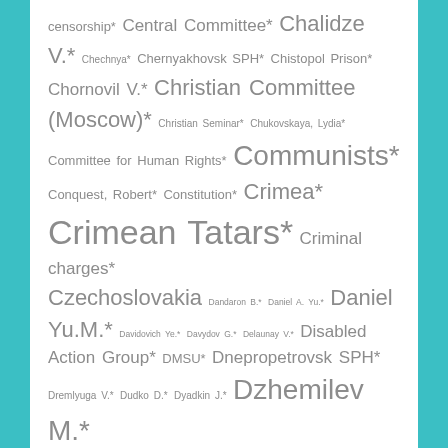censorship* Central Committee* Chalidze V.* Chechnya* Chernyakhovsk SPH* Chistopol Prison* Chornovil V.* Christian Committee (Moscow)* Christian Seminar* Chukovskaya, Lydia* Committee for Human Rights* Communists* Conquest, Robert* Constitution* Crimea* Crimean Tatars* Criminal charges* Czechoslovakia Dandaron B.* Daniel A. Yu.* Daniel Yu.M.* Davidovich Ye.* Davydov G.* Delaunay V.* Disabled Action Group* DMSU* Dnepropetrovsk SPH* Dremlyuga V.* Dudko D.* Dyadkin J.* Dzhemilev M.* Dzhemilev R.* Dzyuba I.* education* Emigration